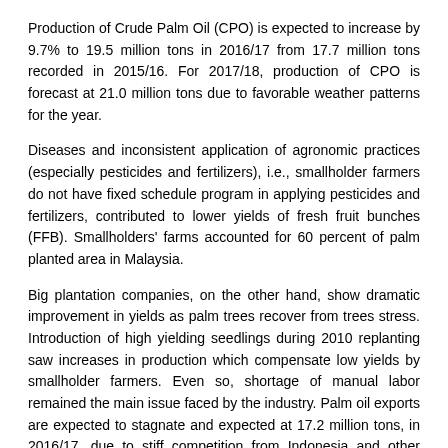Production of Crude Palm Oil (CPO) is expected to increase by 9.7% to 19.5 million tons in 2016/17 from 17.7 million tons recorded in 2015/16. For 2017/18, production of CPO is forecast at 21.0 million tons due to favorable weather patterns for the year.
Diseases and inconsistent application of agronomic practices (especially pesticides and fertilizers), i.e., smallholder farmers do not have fixed schedule program in applying pesticides and fertilizers, contributed to lower yields of fresh fruit bunches (FFB). Smallholders' farms accounted for 60 percent of palm planted area in Malaysia.
Big plantation companies, on the other hand, show dramatic improvement in yields as palm trees recover from trees stress. Introduction of high yielding seedlings during 2010 replanting saw increases in production which compensate low yields by smallholder farmers. Even so, shortage of manual labor remained the main issue faced by the industry. Palm oil exports are expected to stagnate and expected at 17.2 million tons, in 2016/17, due to stiff competition from Indonesia and other edible oils such as soybean, sunflower, canola and rape seed oils.China, India and Pakistan remain major export markets for Malaysia's palm oil. In 2015/16, exports to the United States were 636,000 tons valued at US$401 million.
Soybeans